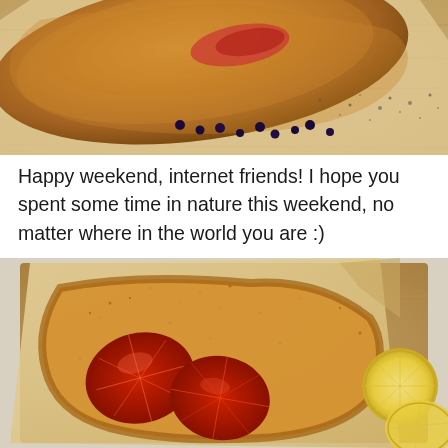[Figure (photo): Close-up overhead shot of a golden-brown baked pastry/galette on parchment paper with scattered blueberries and dark speckles on a wooden surface]
Happy weekend, internet friends! I hope you spent some time in nature this weekend, no matter where in the world you are :)
[Figure (photo): Overhead shot of a blood orange galette/pastry on parchment paper on a wooden cutting board, with sliced blood oranges visible and lemon slices on the right side, dark speckles on parchment]